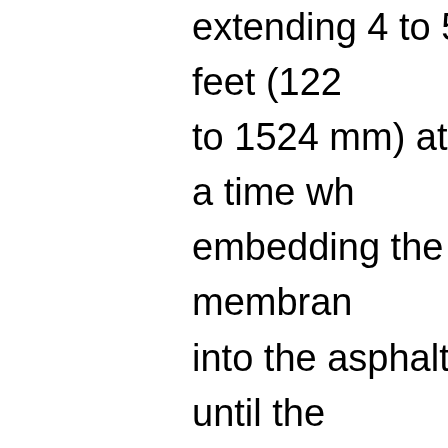extending 4 to 5 feet (1219 to 1524 mm) at a time while embedding the membrane into the asphalt until the entire half of the sheet is adhered. Fold back the unbonded half of the membrane and repeat the bonding procedures identified above.